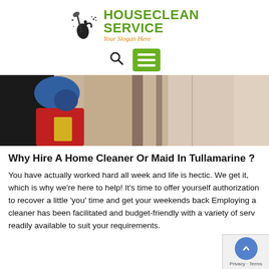[Figure (logo): HouseClean Service logo with spray bottle and mop icon, green text 'HOUSECLEAN SERVICE' and orange italic slogan 'Your Slogan Here']
[Figure (screenshot): Navigation bar with search icon and green hamburger menu button]
[Figure (photo): Photo showing a person in colorful clothing near what appears to be a closet or door]
Why Hire A Home Cleaner Or Maid In Tullamarine ?
You have actually worked hard all week and life is hectic. We get it, which is why we're here to help! It's time to offer yourself authorization to recover a little 'you' time and get your weekends back Employing a cleaner has been facilitated and budget-friendly with a variety of serv readily available to suit your requirements.